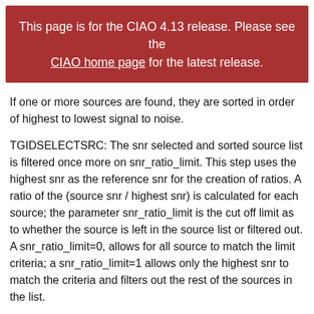This page is for the CIAO 4.13 release. Please see the CIAO home page for the latest release.
If one or more sources are found, they are sorted in order of highest to lowest signal to noise.
TGIDSELECTSRC: The snr selected and sorted source list is filtered once more on snr_ratio_limit. This step uses the highest snr as the reference snr for the creation of ratios. A ratio of the (source snr / highest snr) is calculated for each source; the parameter snr_ratio_limit is the cut off limit as to whether the source is left in the source list or filtered out. A snr_ratio_limit=0, allows for all source to match the limit criteria; a snr_ratio_limit=1 allows only the highest snr to match the criteria and filters out the rest of the sources in the list.